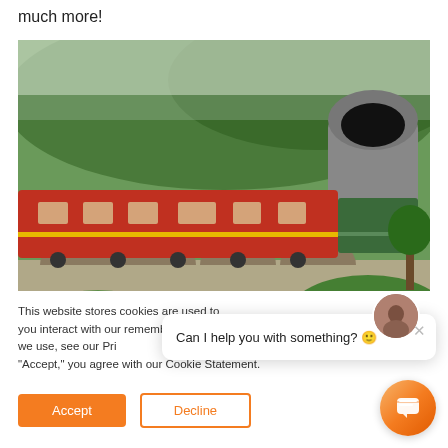much more!
[Figure (photo): A red train crossing a stone arch viaduct bridge, heading toward a tunnel in a green hillside. Tourists are visible standing along the side of the train.]
This website stores cookies are used to you interact with our remember you. To fi we use, see our Pri "Accept," you agree with our Cookie Statement.
Can I help you with something? 🙂
Accept
Decline